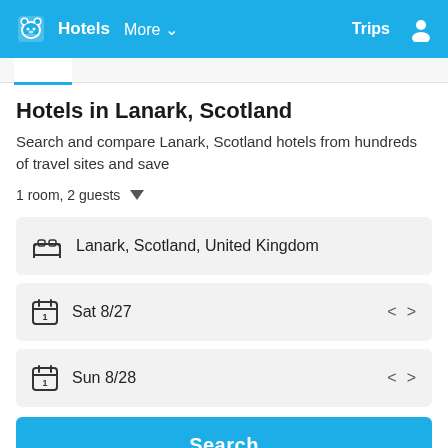Hotels  More  Trips
Hotels in Lanark, Scotland
Search and compare Lanark, Scotland hotels from hundreds of travel sites and save
1 room, 2 guests
Lanark, Scotland, United Kingdom
Sat 8/27
Sun 8/28
Search